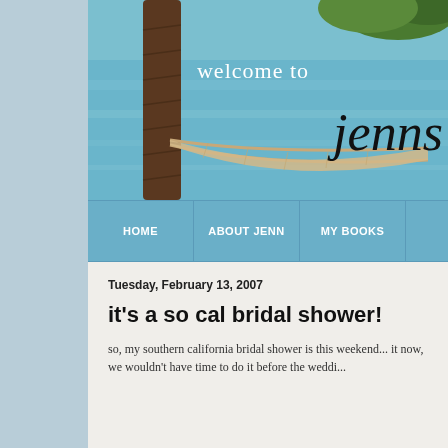[Figure (photo): Blog header image showing a tropical beach scene with a palm tree trunk in the foreground, turquoise ocean water, a hammock, and green foliage. Text overlay reads 'welcome to' in white and 'jenns' in black cursive script.]
HOME | ABOUT JENN | MY BOOKS
Tuesday, February 13, 2007
it's a so cal bridal shower!
so, my southern california bridal shower is this weekend... it now, we wouldn't have time to do it before the weddi...